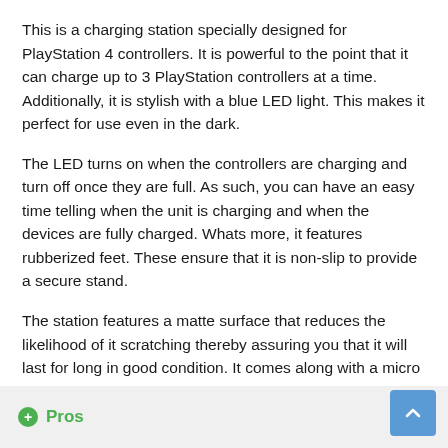This is a charging station specially designed for PlayStation 4 controllers. It is powerful to the point that it can charge up to 3 PlayStation controllers at a time. Additionally, it is stylish with a blue LED light. This makes it perfect for use even in the dark.
The LED turns on when the controllers are charging and turn off once they are full. As such, you can have an easy time telling when the unit is charging and when the devices are fully charged. Whats more, it features rubberized feet. These ensure that it is non-slip to provide a secure stand.
The station features a matte surface that reduces the likelihood of it scratching thereby assuring you that it will last for long in good condition. It comes along with a micro USB cable and triple USB charging docks making it a reliable unit.
Pros